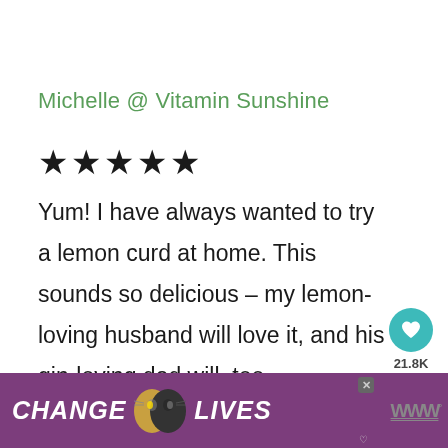Michelle @ Vitamin Sunshine
★★★★★
Yum! I have always wanted to try a lemon curd at home. This sounds so delicious – my lemon-loving husband will love it, and his gin-loving dad will, too.
REPLY
[Figure (screenshot): Heart/like button (teal circle with heart icon) with count 21.8K, and a share button below it]
[Figure (photo): Advertisement banner with purple background showing text CHANGE LIVES with cat images and a close button, followed by a W logo]